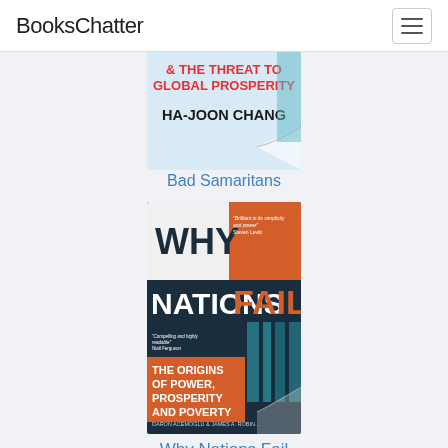BooksChatter
[Figure (photo): Book cover of 'Bad Samaritans' by Ha-Joon Chang — partially visible, showing '& THE THREAT TO GLOBAL PROSPERITY' and 'HA-JOON CHANG' text on a light blue/white cover]
Bad Samaritans
[Figure (photo): Book cover of 'Why Nations Fail: The Origins of Power, Prosperity and Poverty' by Daron Acemoglu & James A. Robinson — orange and dark navy design with large bold title text]
Why Nations Fail